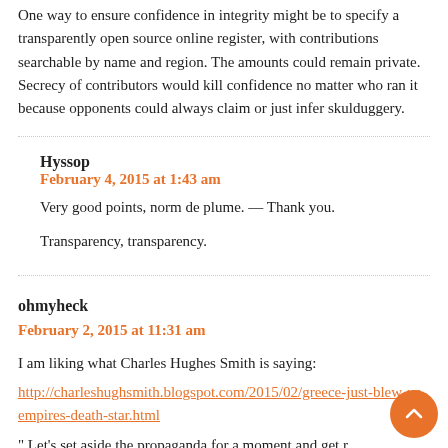One way to ensure confidence in integrity might be to specify a transparently open source online register, with contributions searchable by name and region. The amounts could remain private. Secrecy of contributors would kill confidence no matter who ran it because opponents could always claim or just infer skulduggery.
Hyssop
February 4, 2015 at 1:43 am
Very good points, norm de plume. — Thank you.
Transparency, transparency.
ohmyheck
February 2, 2015 at 11:31 am
I am liking what Charles Hughes Smith is saying:
http://charleshughsmith.blogspot.com/2015/02/greece-just-blew-up-empires-death-star.html
" Let's set aside the propaganda for a moment and get real: anyone with the slightest knowledge of Greek finances and the power structure of the Greek economy/society know it